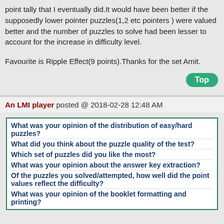point tally that I eventually did.It would have been better if the supposedly lower pointer puzzles(1,2 etc pointers ) were valued better and the number of puzzles to solve had been lesser to account for the increase in difficulty level.

Favourite is Ripple Effect(9 points).Thanks for the set Amit.
An LMI player posted @ 2018-02-28 12:48 AM
What was your opinion of the distribution of easy/hard puzzles?
What did you think about the puzzle quality of the test?
Which set of puzzles did you like the most?
What was your opinion about the answer key extraction?
Of the puzzles you solved/attempted, how well did the point values reflect the difficulty?
What was your opinion of the booklet formatting and printing?
Administrator posted @ 2018-02-28 12:10 PM